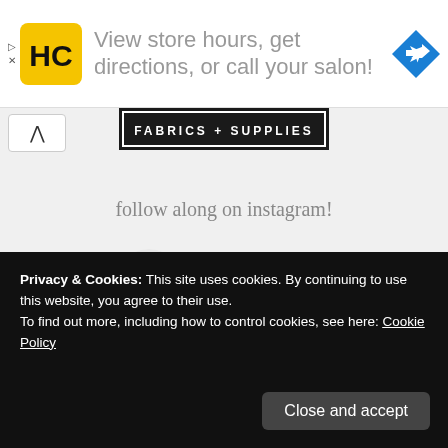[Figure (screenshot): Advertisement banner: HC logo in yellow square, text 'View store hours, get directions, or call your salon!', blue navigation arrow icon on right]
[Figure (screenshot): FABRICS + SUPPLIES dark banner with scroll-up button on left]
follow along on instagram!
[Figure (photo): Circular profile photo showing colorful fabric swatches arranged in a fan]
aprilrosenthal
Privacy & Cookies: This site uses cookies. By continuing to use this website, you agree to their use.
To find out more, including how to control cookies, see here: Cookie Policy
Close and accept